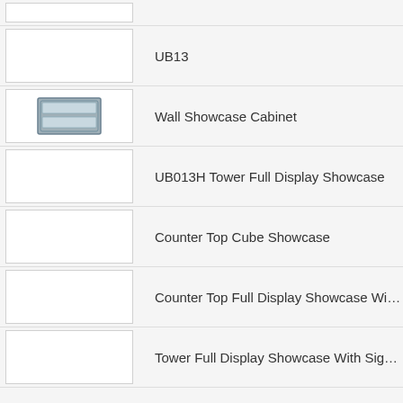UB13
Wall Showcase Cabinet
UB013H Tower Full Display Showcase
Counter Top Cube Showcase
Counter Top Full Display Showcase With Lighting
Tower Full Display Showcase With Sign/Header P